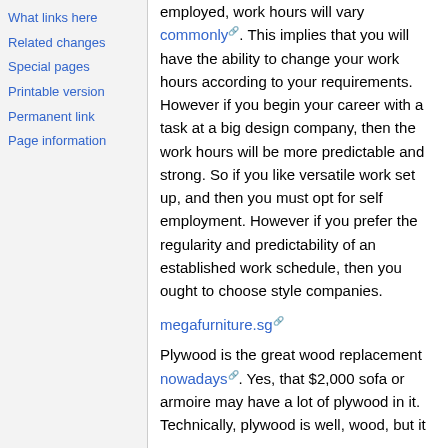What links here
Related changes
Special pages
Printable version
Permanent link
Page information
When you work for a this link of self employed, work hours will vary commonly. This implies that you will have the ability to change your work hours according to your requirements. However if you begin your career with a task at a big design company, then the work hours will be more predictable and strong. So if you like versatile work set up, and then you must opt for self employment. However if you prefer the regularity and predictability of an established work schedule, then you ought to choose style companies.
megafurniture.sg
Plywood is the great wood replacement nowadays. Yes, that $2,000 sofa or armoire may have a lot of plywood in it. Technically, plywood is well, wood, but it